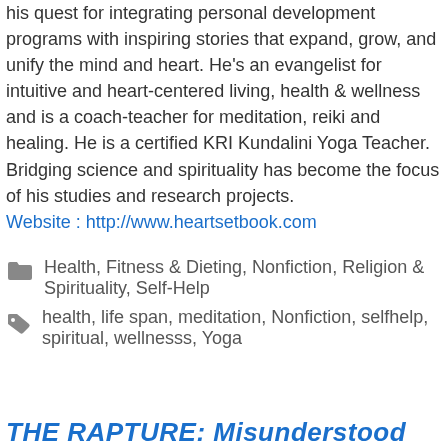his quest for integrating personal development programs with inspiring stories that expand, grow, and unify the mind and heart. He's an evangelist for intuitive and heart-centered living, health & wellness and is a coach-teacher for meditation, reiki and healing. He is a certified KRI Kundalini Yoga Teacher. Bridging science and spirituality has become the focus of his studies and research projects. Website : http://www.heartsetbook.com
Health, Fitness & Dieting, Nonfiction, Religion & Spirituality, Self-Help
health, life span, meditation, Nonfiction, selfhelp, spiritual, wellnesss, Yoga
THE RAPTURE: Misunderstood